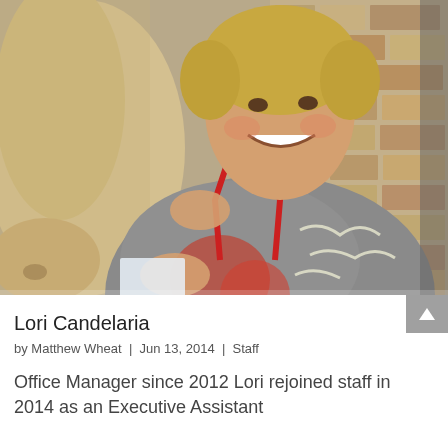[Figure (photo): A smiling woman with short blonde hair wearing a grey patterned top and red lanyard, standing next to a horse, touching the horse with both hands. Background shows a stone/brick wall structure.]
Lori Candelaria
by Matthew Wheat | Jun 13, 2014 | Staff
Office Manager since 2012 Lori rejoined staff in 2014 as an Executive Assistant